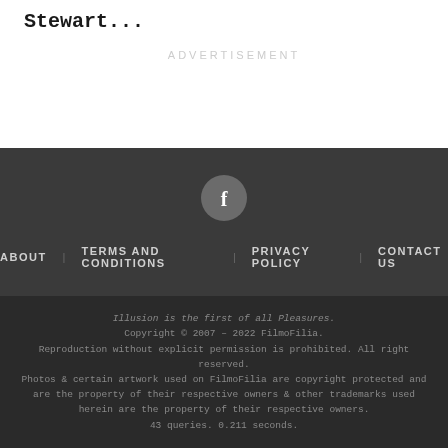Stewart...
ADVERTISEMENT
[Figure (logo): Facebook icon in a dark circle button]
ABOUT   TERMS AND CONDITIONS   PRIVACY POLICY   CONTACT US
Illusion is the first of all Pleasures.
Copyright © 2007 – 2022 FilmoFilia.
Reproduction without explicit permission is prohibited. All right reserved.
Photos & certain artwork used on FilmoFilia are copyright protected and are the property of their respective owners & other trademarks used herein are the property of their respective owners.
43 queries. 0.211 seconds.